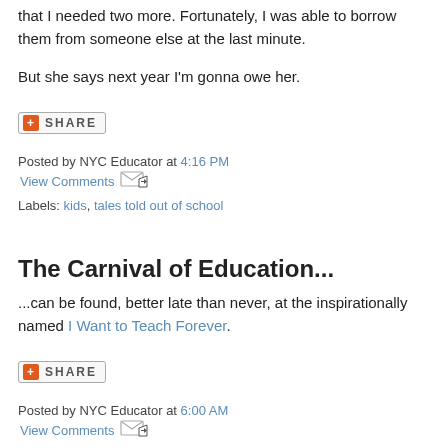that I needed two more. Fortunately, I was able to borrow them from someone else at the last minute.
But she says next year I'm gonna owe her.
[Figure (other): Share button with orange plus icon and 'SHARE' text]
Posted by NYC Educator at 4:16 PM
View Comments
Labels: kids, tales told out of school
The Carnival of Education...
...can be found, better late than never, at the inspirationally named I Want to Teach Forever.
[Figure (other): Share button with orange plus icon and 'SHARE' text]
Posted by NYC Educator at 6:00 AM
View Comments
Thursday, April 03, 2008